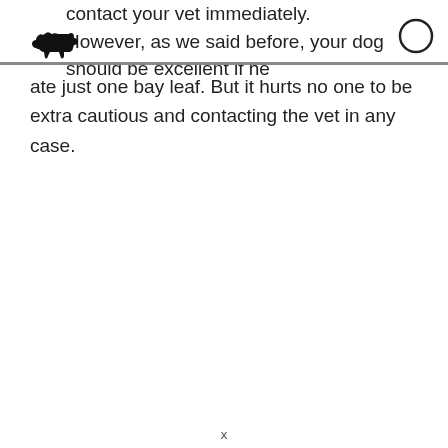contact your vet immediately. However, as we said before, your dog should be excellent if he
[Figure (illustration): Small black silhouette icon of a dog]
[Figure (illustration): Empty circle outline icon]
ate just one bay leaf. But it hurts no one to be extra cautious and contacting the vet in any case.
x